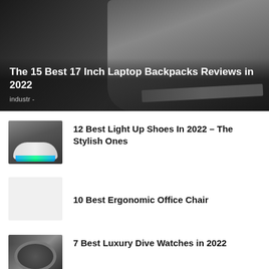[Figure (photo): Hero image of a black laptop backpack with a laptop partially inserted, dark background]
The 15 Best 17 Inch Laptop Backpacks Reviews in 2022
industr -
[Figure (photo): Thumbnail of glowing light-up shoes with blue/green LED soles]
12 Best Light Up Shoes In 2022 – The Stylish Ones
10 Best Ergonomic Office Chair
[Figure (photo): Thumbnail of a luxury dive watch, silver/black tones]
7 Best Luxury Dive Watches in 2022